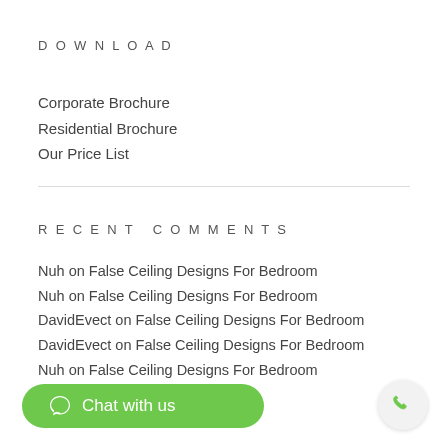DOWNLOAD
Corporate Brochure
Residential Brochure
Our Price List
RECENT COMMENTS
Nuh on False Ceiling Designs For Bedroom
Nuh on False Ceiling Designs For Bedroom
DavidEvect on False Ceiling Designs For Bedroom
DavidEvect on False Ceiling Designs For Bedroom
Nuh on False Ceiling Designs For Bedroom